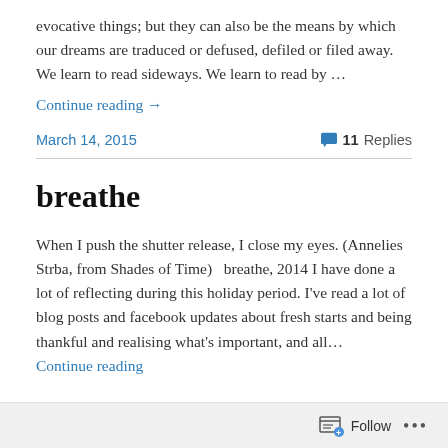evocative things; but they can also be the means by which our dreams are traduced or defused, defiled or filed away. We learn to read sideways. We learn to read by …
Continue reading →
March 14, 2015
11 Replies
breathe
When I push the shutter release, I close my eyes. (Annelies Strba, from Shades of Time)   breathe, 2014 I have done a lot of reflecting during this holiday period. I've read a lot of blog posts and facebook updates about fresh starts and being thankful and realising what's important, and all…
Continue reading
Follow …